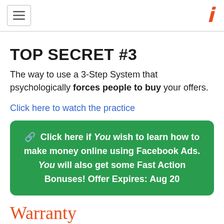≡  A
TOP SECRET #3
The way to use a 3-Step System that psychologically forces people to buy your offers.
Click here to watch the practice
🔗 Click here if You wish to learn how to make money online using Facebook Ads. You will also get some Fast Action Bonuses! Offer Expires: Aug 20
Warranty